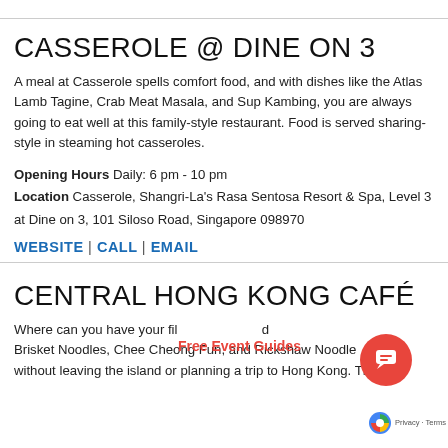CASSEROLE @ DINE ON 3
A meal at Casserole spells comfort food, and with dishes like the Atlas Lamb Tagine, Crab Meat Masala, and Sup Kambing, you are always going to eat well at this family-style restaurant. Food is served sharing-style in steaming hot casseroles.
Opening Hours Daily: 6 pm - 10 pm
Location Casserole, Shangri-La's Rasa Sentosa Resort & Spa, Level 3 at Dine on 3, 101 Siloso Road, Singapore 098970
WEBSITE | CALL | EMAIL
CENTRAL HONG KONG CAFÉ
Where can you have your fil... Brisket Noodles, Chee Cheong Fun, and Rickshaw Noodle... without leaving the island or planning a trip to Hong Kong. The 70s